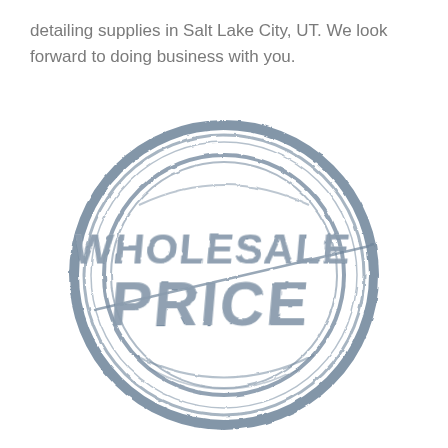detailing supplies in Salt Lake City, UT. We look forward to doing business with you.
[Figure (logo): Circular stamp-style logo in slate blue/grey with distressed texture reading 'WHOLESALE PRICE' in bold block letters, with diagonal slash line through the circle.]